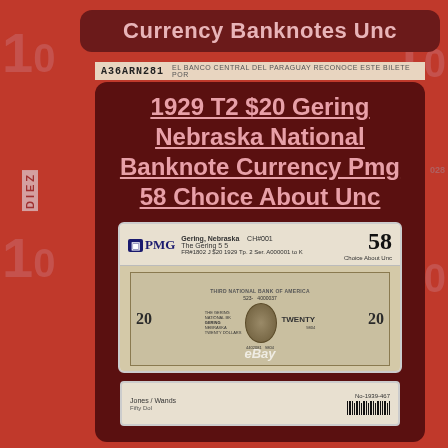Currency Banknotes Unc
A36ARN281  EL BANCO CENTRAL DEL PARAGUAY RECONOCE ESTE BILETE POR
1929 T2 $20 Gering Nebraska National Banknote Currency Pmg 58 Choice About Unc
[Figure (photo): PMG graded slab containing a 1929 $20 Gering Nebraska National Banknote graded 58 Choice About Unc. The slab shows the PMG logo, details 'Gering, Nebraska CH#001 The Gering 5 5', grade 58, and the banknote featuring a portrait, serial number 4000037, denomination 20, bank name GERING NEBRASKA, TWENTY DOLLARS.]
[Figure (photo): Bottom portion of another graded banknote slab, partially visible, showing Jones / Wands text and a barcode.]